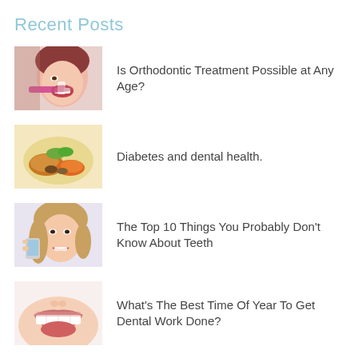Recent Posts
Is Orthodontic Treatment Possible at Any Age?
Diabetes and dental health.
The Top 10 Things You Probably Don't Know About Teeth
What's The Best Time Of Year To Get Dental Work Done?